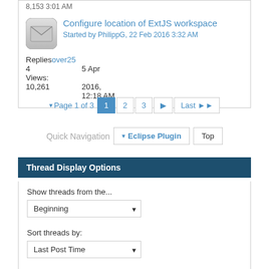8,153 3:01 AM
Configure location of ExtJS workspace
Started by PhilippG, 22 Feb 2016 3:32 AM
Replies: over25
4
Views:
10,261
5 Apr 2016, 12:18 AM
Page 1 of 3   1  2  3  ▶  Last ▶▶
Quick Navigation   Eclipse Plugin   Top
Thread Display Options
Show threads from the...
Beginning
Sort threads by:
Last Post Time
Order threads in...
Ascending Order
Descending Order